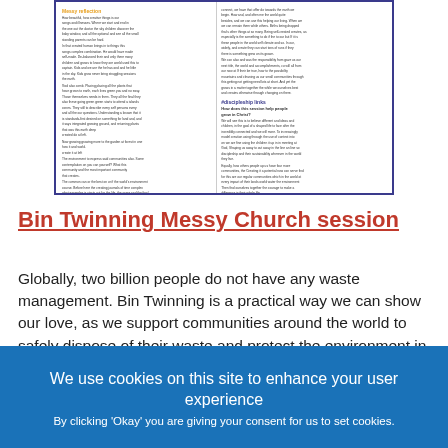[Figure (screenshot): A preview thumbnail of a document page showing 'Messy reflection' and '#discipleship links' sections with small text columns in a two-column layout with a blue border.]
Bin Twinning Messy Church session
Globally, two billion people do not have any waste management. Bin Twinning is a practical way we can show our love, as we support communities around the world to safely dispose of their waste and protect the environment in their local communities. Together we can begin to make a difference in many people's lives.
We use cookies on this site to enhance your user experience
By clicking 'Okay' you are giving your consent for us to set cookies.